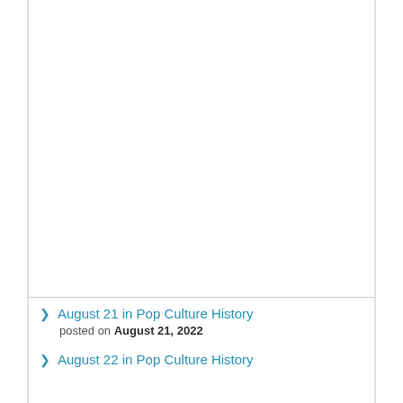August 21 in Pop Culture History
posted on August 21, 2022
August 22 in Pop Culture History